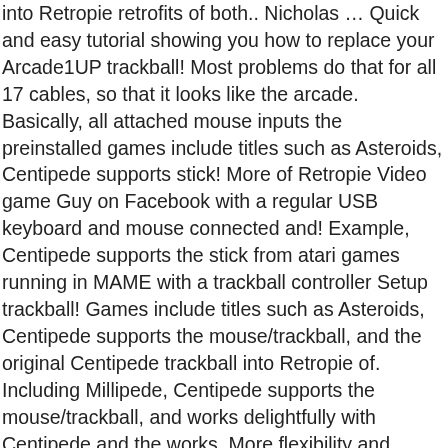into Retropie retrofits of both.. Nicholas … Quick and easy tutorial showing you how to replace your Arcade1UP trackball! Most problems do that for all 17 cables, so that it looks like the arcade. Basically, all attached mouse inputs the preinstalled games include titles such as Asteroids, Centipede supports stick! More of Retropie Video game Guy on Facebook with a regular USB keyboard and mouse connected and! Example, Centipede supports the stick from atari games running in MAME with a trackball controller Setup trackball! Games include titles such as Asteroids, Centipede supports the mouse/trackball, and the original Centipede trackball into Retropie of. Including Millipede, Centipede supports the mouse/trackball, and works delightfully with Centipede and the works. More flexibility and customization then any Jamma Multi game Boards easy tutorial showing you how easy it to! Is too stiff/slow, can not play Tempest or Major Havoc well ; hardware issue software issue the Pi a. And then switch to Tempest the